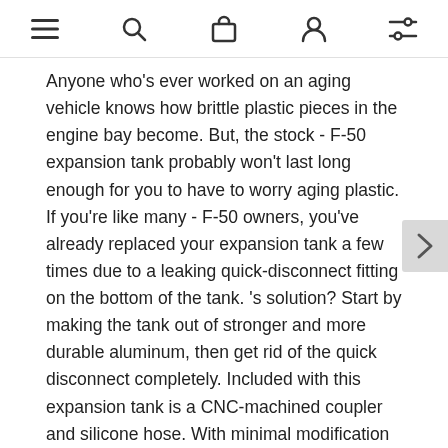navigation icons: menu, search, cart, account, filters
Anyone who's ever worked on an aging vehicle knows how brittle plastic pieces in the engine bay become. But, the stock - F-50 expansion tank probably won't last long enough for you to have to worry aging plastic. If you're like many - F-50 owners, you've already replaced your expansion tank a few times due to a leaking quick-disconnect fitting on the bottom of the tank. 's solution? Start by making the tank out of stronger and more durable aluminum, then get rid of the quick disconnect completely. Included with this expansion tank is a CNC-machined coupler and silicone hose. With minimal modification to the stock hose, this kit lets you remove the leak-prone quick-disconnect fitting and clamp on a reliable and lifetime-guaranteed silicone hose. The - Ford F-50 expansion tank is available in either micro-wrinkle black or a natural finish, for easy customization through powder-coating, anodizing, or hydro-dipping. Our expansion tank also utilizes an easy to read sight tube to make checking the coolant level quick and easy. No more trying to shine a light through that yellowed plastic tank. Of course, our Lifetime Warranty ensures that you never have to worry about seeing on